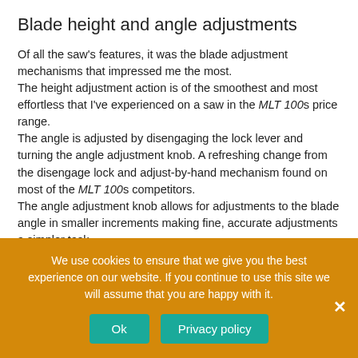Blade height and angle adjustments
Of all the saw's features, it was the blade adjustment mechanisms that impressed me the most.
The height adjustment action is of the smoothest and most effortless that I've experienced on a saw in the MLT 100s price range.
The angle is adjusted by disengaging the lock lever and turning the angle adjustment knob. A refreshing change from the disengage lock and adjust-by-hand mechanism found on most of the MLT 100s competitors.
The angle adjustment knob allows for adjustments to the blade angle in smaller increments making fine, accurate adjustments a simpler task.
Cutting
We use cookies to ensure that we give you the best experience on our website. If you continue to use this site we will assume that you are happy with it.